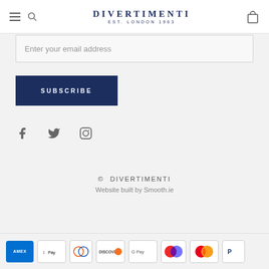DIVERTIMENTI EST. LONDON 1963
Enter your email address
SUBSCRIBE
[Figure (infographic): Social media icons: Facebook, Twitter, Instagram]
© DIVERTIMENTI
Website built by Smooth.ie
[Figure (infographic): Payment method icons: Amex, Apple Pay, Diners, Discover, Google Pay, Maestro, Mastercard, PayPal]